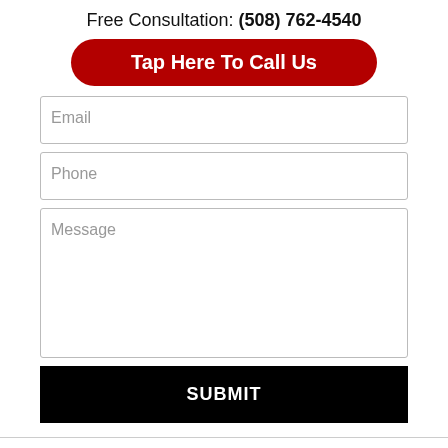Free Consultation: (508) 762-4540
Tap Here To Call Us
Email
Phone
Message
SUBMIT
[Figure (infographic): Row of five social media icon buttons: Facebook (blue), Twitter (light blue), LinkedIn (dark blue), Justia (dark navy blue), RSS feed (orange)]